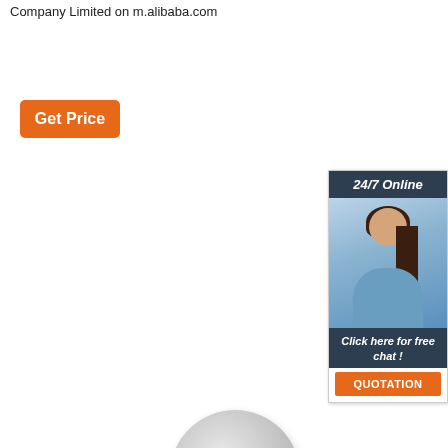Company Limited on m.alibaba.com
Get Price
[Figure (photo): Customer service chat widget with 24/7 Online header, photo of smiling woman with headset, 'Click here for free chat!' text, and orange QUOTATION button]
[Figure (photo): Three circular adhesive tape product discs (grey/silver) shown at different positions. One disc has 'Tissue Tape' text printed on it in blue. A 'TOP' logo with orange triangle and dots appears in the lower right.]